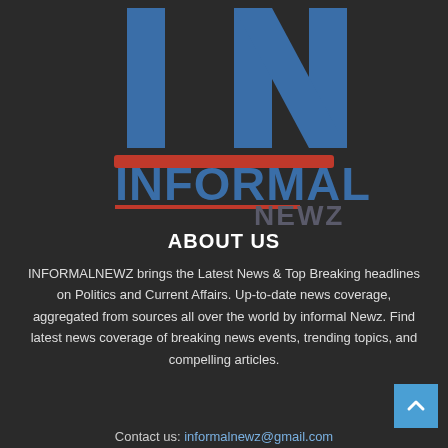[Figure (logo): Informal Newz logo: large blue 'IN' lettermark at top, red horizontal bar, blue 'INFORMAL' text with red underline, grey 'NEWZ' text]
ABOUT US
INFORMALNEWZ brings the Latest News & Top Breaking headlines on Politics and Current Affairs. Up-to-date news coverage, aggregated from sources all over the world by informal Newz. Find latest news coverage of breaking news events, trending topics, and compelling articles.
Contact us: informalnewz@gmail.com